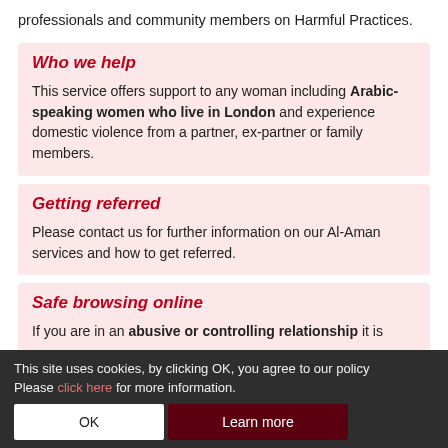professionals and community members on Harmful Practices.
Who we help
This service offers support to any woman including Arabic-speaking women who live in London and experience domestic violence from a partner, ex-partner or family members.
Getting referred
Please contact us for further information on our Al-Aman services and how to get referred.
Safe browsing online
If you are in an abusive or controlling relationship it is
This site uses cookies, by clicking OK, you agree to our policy Please click here for more information.
OK
Learn more